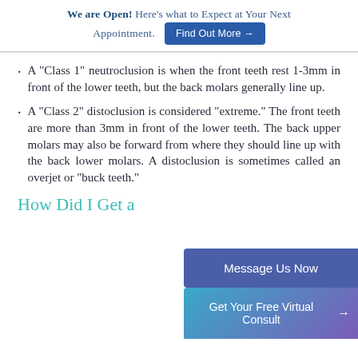We are Open! Here's what to Expect at Your Next Appointment. Find Out More →
A “Class 1” neutroclusion is when the front teeth rest 1-3mm in front of the lower teeth, but the back molars generally line up.
A “Class 2” distoclusion is considered “extreme.” The front teeth are more than 3mm in front of the lower teeth. The back upper molars may also be forward from where they should line up with the back lower molars. A distoclusion is sometimes called an overjet or “buck teeth.”
How Did I Get a
Message Us Now
Get Your Free Virtual Consult →